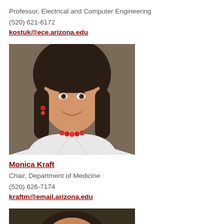Professor, Electrical and Computer Engineering
(520) 621-6172
kostuk@ece.arizona.edu
[Figure (photo): Professional headshot of Monica Kraft, a woman with dark brown hair, wearing a white lab coat and red necklace, smiling.]
Monica Kraft
Chair, Department of Medicine
(520) 626-7174
kraftm@email.arizona.edu
[Figure (photo): Partial photo of another person, cropped at bottom of page.]